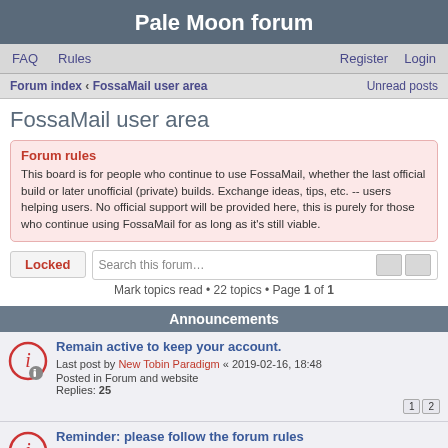Pale Moon forum
FAQ  Rules  Register  Login
Forum index › FossaMail user area  Unread posts
FossaMail user area
Forum rules
This board is for people who continue to use FossaMail, whether the last official build or later unofficial (private) builds. Exchange ideas, tips, etc. -- users helping users. No official support will be provided here, this is purely for those who continue using FossaMail for as long as it's still viable.
Locked  Search this forum...  Mark topics read • 22 topics • Page 1 of 1
Announcements
Remain active to keep your account.
Last post by New Tobin Paradigm « 2019-02-16, 18:48
Posted in Forum and website
Replies: 25
Reminder: please follow the forum rules
Last post by Admin « 2017-10-02, 11:34
Posted in Forum and website